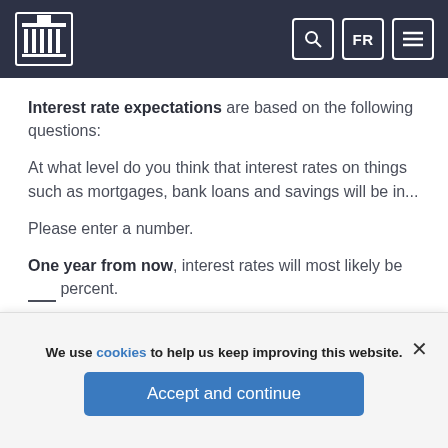Bank of Canada header with logo, search, FR, and menu icons
Interest rate expectations are based on the following questions:
At what level do you think that interest rates on things such as mortgages, bank loans and savings will be in...
Please enter a number.
One year from now, interest rates will most likely be __ percent.
Two years from now, interest rates will most likely be __ percent.
We use cookies to help us keep improving this website.